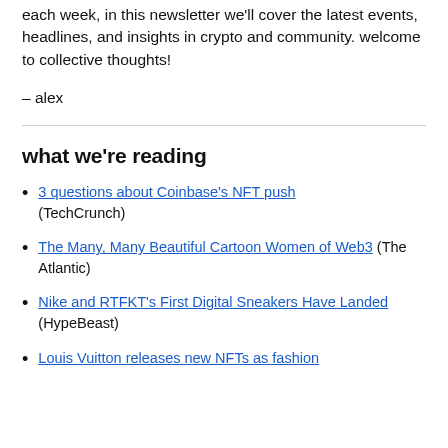each week, in this newsletter we'll cover the latest events, headlines, and insights in crypto and community. welcome to collective thoughts!
– alex
what we're reading
3 questions about Coinbase's NFT push (TechCrunch)
The Many, Many Beautiful Cartoon Women of Web3 (The Atlantic)
Nike and RTFKT's First Digital Sneakers Have Landed (HypeBeast)
Louis Vuitton releases new NFTs as fashion